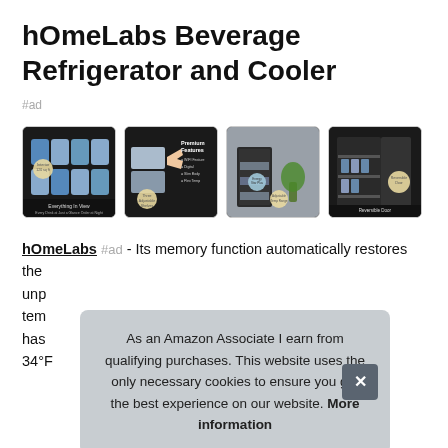hOmeLabs Beverage Refrigerator and Cooler
#ad
[Figure (photo): Four product images of hOmeLabs Beverage Refrigerator and Cooler showing different views: cans inside with 'Everything in View' label, premium features with hand pointing, lifestyle kitchen shot, and reversible door view.]
hOmeLabs #ad - Its memory function automatically restores the temperature setting after an unexpected power outage. The unit temperature can be adjusted from 34°F
As an Amazon Associate I earn from qualifying purchases. This website uses the only necessary cookies to ensure you get the best experience on our website. More information